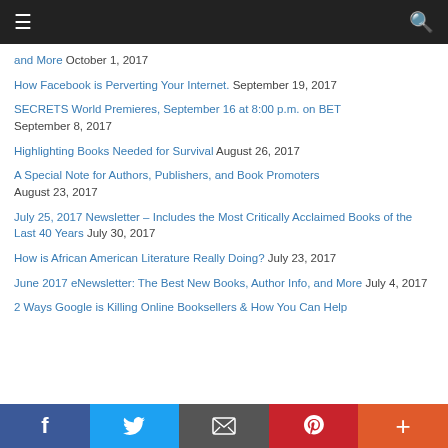Navigation bar with hamburger menu and search icon
and More  October 1, 2017
How Facebook is Perverting Your Internet.  September 19, 2017
SECRETS World Premieres, September 16 at 8:00 p.m. on BET  September 8, 2017
Highlighting Books Needed for Survival  August 26, 2017
A Special Note for Authors, Publishers, and Book Promoters  August 23, 2017
July 25, 2017 Newsletter – Includes the Most Critically Acclaimed Books of the Last 40 Years  July 30, 2017
How is African American Literature Really Doing?  July 23, 2017
June 2017 eNewsletter: The Best New Books, Author Info, and More  July 4, 2017
2 Ways Google is Killing Online Booksellers & How You Can Help
Social share bar: Facebook, Twitter, Email, Pinterest, More